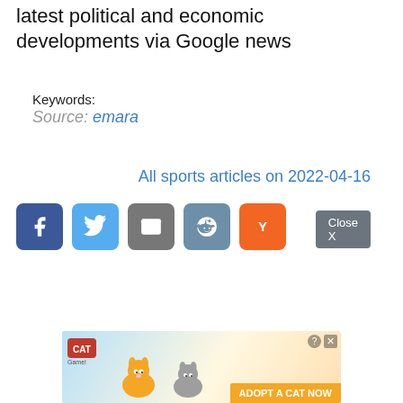latest political and economic developments via Google news
Keywords:
Source: emara
All sports articles on 2022-04-16
[Figure (infographic): Social share buttons: Facebook (blue), Twitter (light blue), Email (gray), Reddit (steel blue), Hacker News Y (orange)]
Close X
[Figure (photo): Cat game advertisement banner with illustrated cats and 'ADOPT A CAT NOW' call to action, with question mark and close icons]